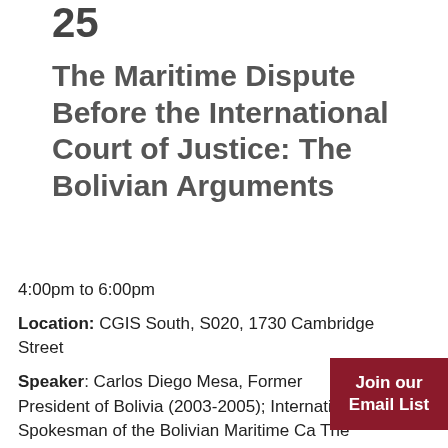25
The Maritime Dispute Before the International Court of Justice: The Bolivian Arguments
4:00pm to 6:00pm
Location: CGIS South, S020, 1730 Cambridge Street
Speaker: Carlos Diego Mesa, Former President of Bolivia (2003-2005); International Spokesman of the Bolivian Maritime Ca... The Hague
Join our Email List